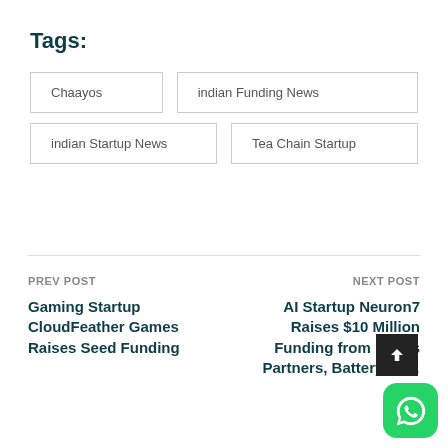Tags:
Chaayos
indian Funding News
indian Startup News
Tea Chain Startup
PREV POST
Gaming Startup CloudFeather Games Raises Seed Funding
NEXT POST
AI Startup Neuron7 Raises $10 Million Funding from Nexus Partners, Battery Ve…